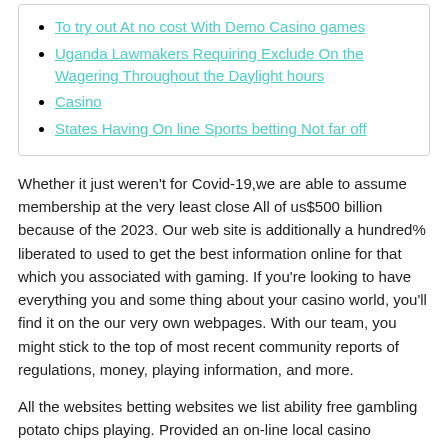To try out At no cost With Demo Casino games
Uganda Lawmakers Requiring Exclude On the Wagering Throughout the Daylight hours
Casino
States Having On line Sports betting Not far off
Whether it just weren't for Covid-19,we are able to assume membership at the very least close All of us$500 billion because of the 2023. Our web site is additionally a hundred% liberated to used to get the best information online for that which you associated with gaming. If you're looking to have everything you and some thing about your casino world, you'll find it on the our very own webpages. With our team, you might stick to the top of most recent community reports of regulations, money, playing information, and more.
All the websites betting websites we list ability free gambling potato chips playing. Provided an on-line local casino provides a permit and you will video game of affirmed app builders, it's completely legitimate. Video poker is definitely an extremely enjoyable form of casino poker for people who enjoy hosts over